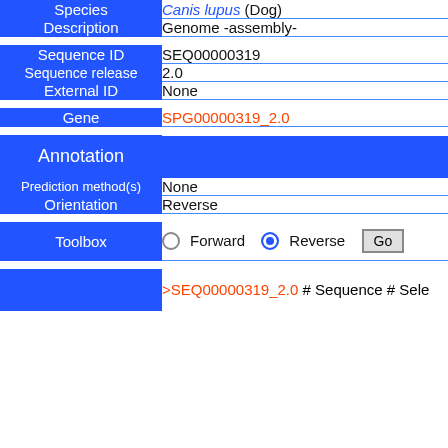| Field | Value |
| --- | --- |
| Species | Canis lupus (Dog) |
| Description | Genome -assembly- |
| Sequence ID | SEQ00000319 |
| Sequence release | 2.0 |
| External ID | None |
| Gene | SPG00000319_2.0 |
| Annotation |  |
| Prediction method(s) | None |
| Orientation | Reverse |
| Toolbox | Forward / Reverse / Go |
>SEQ00000319_2.0 # Sequence # Sele